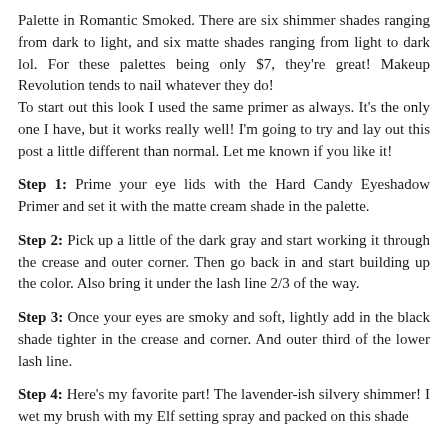Palette in Romantic Smoked. There are six shimmer shades ranging from dark to light, and six matte shades ranging from light to dark lol. For these palettes being only $7, they're great! Makeup Revolution tends to nail whatever they do!
To start out this look I used the same primer as always. It's the only one I have, but it works really well! I'm going to try and lay out this post a little different than normal. Let me known if you like it!
Step 1: Prime your eye lids with the Hard Candy Eyeshadow Primer and set it with the matte cream shade in the palette.
Step 2: Pick up a little of the dark gray and start working it through the crease and outer corner. Then go back in and start building up the color. Also bring it under the lash line 2/3 of the way.
Step 3: Once your eyes are smoky and soft, lightly add in the black shade tighter in the crease and corner. And outer third of the lower lash line.
Step 4: Here's my favorite part! The lavender-ish silvery shimmer! I wet my brush with my Elf setting spray and packed on this shade